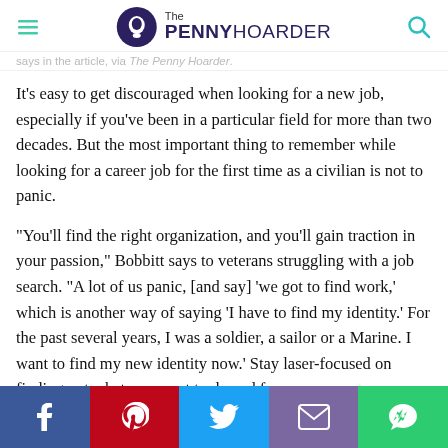The PENNY HOARDER
It’s easy to get discouraged when looking for a new job, especially if you’ve been in a particular field for more than two decades. But the most important thing to remember while looking for a career job for the first time as a civilian is not to panic.
“You’ll find the right organization, and you’ll gain traction in your passion,” Bobbitt says to veterans struggling with a job search. “A lot of us panic, [and say] ‘we got to find work,’ which is another way of saying ‘I have to find my identity.’ For the past several years, I was a soldier, a sailor or a Marine. I want to find my new identity now.’ Stay laser-focused on finding out what you want to do and focus on